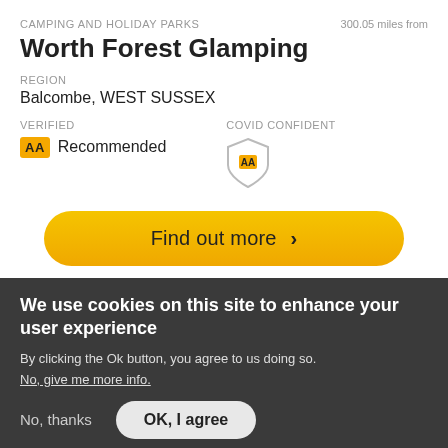CAMPING AND HOLIDAY PARKS
300.05 miles from
Worth Forest Glamping
REGION
Balcombe, WEST SUSSEX
VERIFIED
COVID CONFIDENT
AA Recommended
[Figure (logo): AA shield logo for COVID Confident badge]
Find out more >
[Figure (photo): Partial photograph of a building with blue sky]
We use cookies on this site to enhance your user experience
By clicking the Ok button, you agree to us doing so.
No, give me more info.
No, thanks
OK, I agree